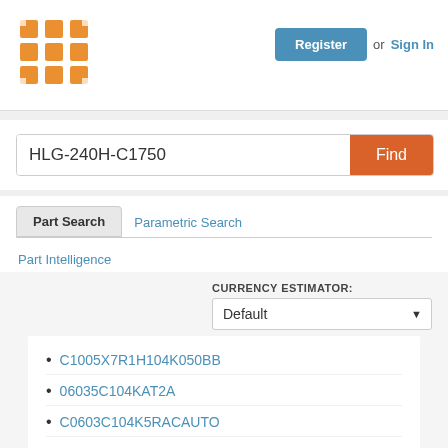[Figure (logo): Orange grid/matrix logo icon]
Register or Sign In
HLG-240H-C1750
Find
Part Search
Parametric Search
Part Intelligence
CURRENCY ESTIMATOR: Default
C1005X7R1H104K050BB
06035C104KAT2A
C0603C104K5RACAUTO
CGA2B3X7R1H104K050BB
C3216X5R1A107M160AC
CL10B104KB8NNNC